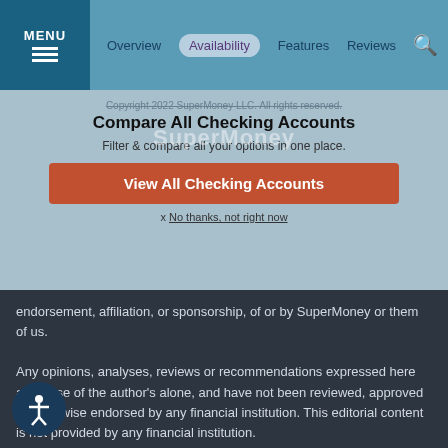MENU | Overview | Availability | Features | Reviews
Copyright 2022 SuperMoney LLC. All rights reserved.
Compare All Checking Accounts
Filter & compare all your options in one place.
View All Checking Accounts
x No thanks, not right now
SuperMoney is not responsible for third party products, services, sites, recommendations, endorsements, reviews, etc. All products, logos, and company names are trademarks™ or registered® trademarks of their respective holders. Their use does not signify or suggest the endorsement, affiliation, or sponsorship, of or by SuperMoney or them of us.
Any opinions, analyses, reviews or recommendations expressed here are those of the author's alone, and have not been reviewed, approved or otherwise endorsed by any financial institution. This editorial content is not provided by any financial institution.
rMoney.com is an independent, advertising-supported service. wner of this website may be compensated in exchange for eatured placement of certain sponsored products and services, or your